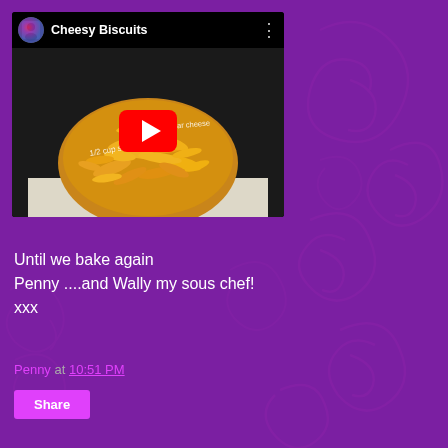[Figure (screenshot): YouTube video thumbnail showing 'Cheesy Biscuits' with a pile of cheesy biscuit snacks, a red YouTube play button, a channel avatar, and text overlays reading '1/2 cup s...' and '...cheddar cheese']
Until we bake again
Penny ....and Wally my sous chef!
xxx
Penny at 10:51 PM
Share